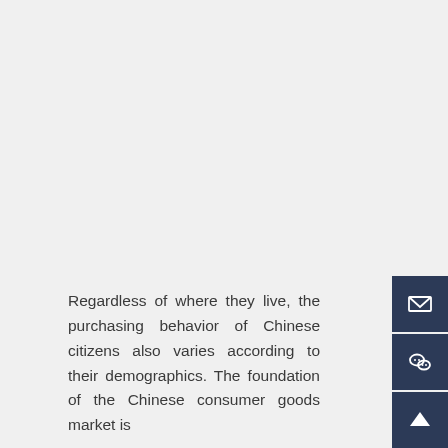Regardless of where they live, the purchasing behavior of Chinese citizens also varies according to their demographics. The foundation of the Chinese consumer goods market is
[Figure (other): Sidebar with email icon, WeChat icon, and up-arrow icon on dark navy background]